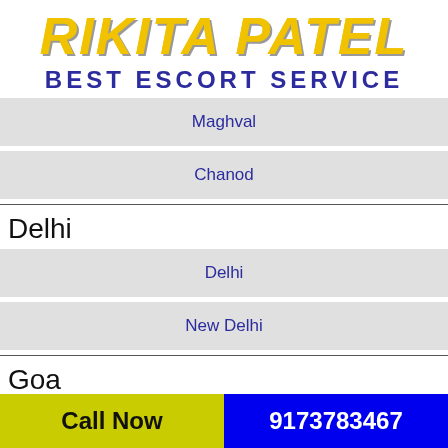[Figure (logo): Rikita Patel Best Escort Service logo with yellow italic text and dark blue subtitle]
Maghval
Chanod
Delhi
Delhi
New Delhi
Goa
Marmagao
Call Now  9173783467